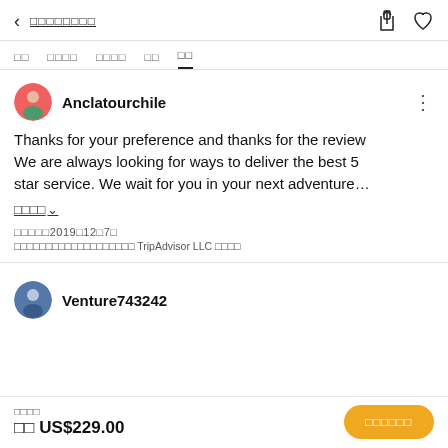< □□□□□□□□
□□  □□□□  □□□□  □□  □□
Anclatourchile
Thanks for your preference and thanks for the review We are always looking for ways to deliver the best 5 star service. We wait for you in your next adventure…
□□□□ ∨
□□□□□2019□12□7□
□□□□□□□□□□□□□□□□□□□ TripAdvisor LLC □□□□
Venture743242
□□□□
从 US$229.00   □□□□□□